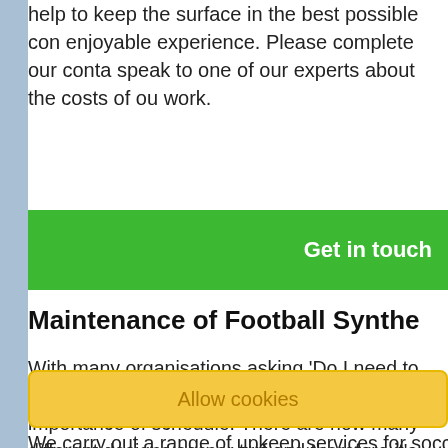help to keep the surface in the best possible con enjoyable experience. Please complete our conta speak to one of our experts about the costs of ou work.
Get in touch
Maintenance of Football Synthe
With many organisations asking 'Do I need to ma pitch?' It is important to stress the importance of schedule. There are now many different designs soccer turf and therefore it's important that the u each type of surface. For example a 2G sand fille require different materials when topping up the i 5G surface will require a sand and rubber infill wh decompacting and replacing on a regular basis to
Allow cookies
We carry out a range of upkeep services for socc